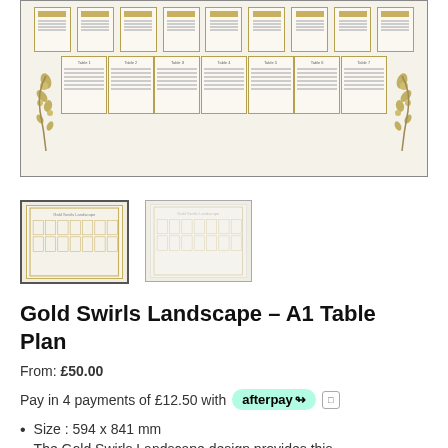[Figure (illustration): Main product image showing a gold swirls landscape table plan with multiple table cards arranged in rows on a cream background with floral corner decorations]
[Figure (illustration): Two thumbnail images of the Gold Swirls Landscape table plan, one selected with a dark border]
Gold Swirls Landscape – A1 Table Plan
From: £50.00
Pay in 4 payments of £12.50 with afterpay
Size : 594 x 841 mm
The Gold Swirls Landscape design provides this